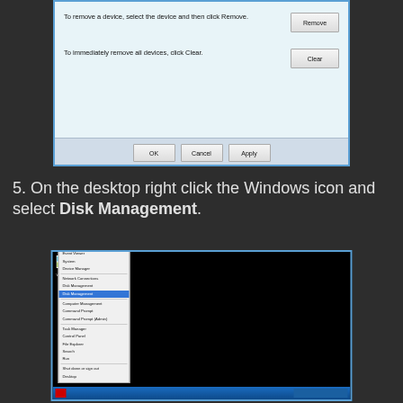[Figure (screenshot): Windows dialog box showing device management options with 'Remove' and 'Clear' buttons, and OK/Cancel/Apply buttons at the bottom]
5. On the desktop right click the Windows icon and select Disk Management.
[Figure (screenshot): Windows desktop screenshot showing a black background with a right-click context menu open in the bottom-left corner near the Windows icon, with 'Disk Management' option visible and highlighted]